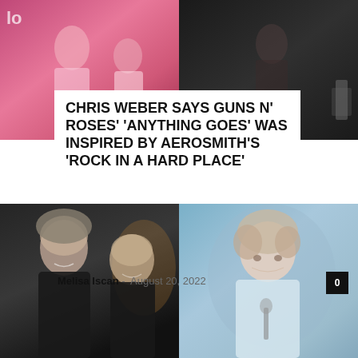[Figure (photo): Two rock performers on stage, pink/magenta tones, left side]
[Figure (photo): Rock performer on dark stage, right side]
CHRIS WEBER SAYS GUNS N' ROSES' 'ANYTHING GOES' WAS INSPIRED BY AEROSMITH'S 'ROCK IN A HARD PLACE'
Melisa Iscan – August 20, 2022
[Figure (photo): Two men (Brian May and Roger Taylor of Queen) posing together at an event, dark background]
[Figure (photo): Young man with curly hair looking down, holding microphone, light blue/purple background]